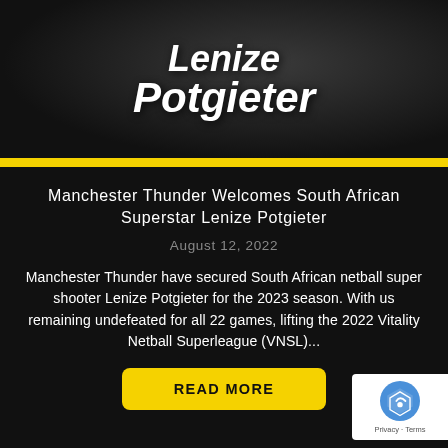[Figure (photo): Dark background image of Lenize Potgieter with her name displayed in stylized script overlay text]
Manchester Thunder Welcomes South African Superstar Lenize Potgieter
August 12, 2022
Manchester Thunder have secured South African netball super shooter Lenize Potgieter for the 2023 season. With us remaining undefeated for all 22 games, lifting the 2022 Vitality Netball Superleague (VNSL)...
[Figure (screenshot): reCAPTCHA badge in bottom right corner showing the reCAPTCHA logo and Privacy - Terms text]
[Figure (photo): Partial view of another article card at the bottom with Welcome text in yellow script]